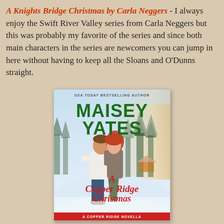A Knights Bridge Christmas by Carla Neggers - I always enjoy the Swift River Valley series from Carla Neggers but this was probably my favorite of the series and since both main characters in the series are newcomers you can jump in here without having to keep all the Sloans and O'Dunns straight.
[Figure (illustration): Book cover of 'A Copper Ridge Christmas' by Maisey Yates. Shows a couple embracing in a snowy winter landscape with snow-covered pine trees. The author name 'MAISEY YATES' is in large green letters at the top, with 'USA TODAY BESTSELLING AUTHOR' above it. The title 'A Copper Ridge Christmas' is in red script lettering. At the bottom it says 'A COPPER RIDGE NOVELLA'.]